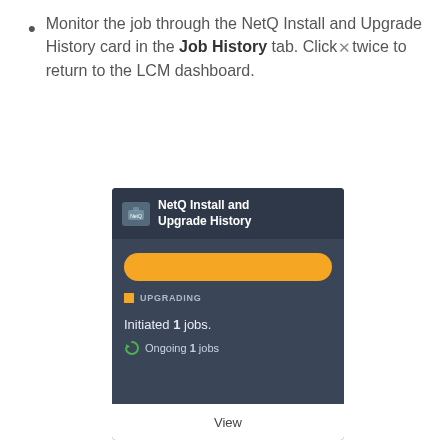Monitor the job through the NetQ Install and Upgrade History card in the Job History tab. Click × twice to return to the LCM dashboard.
[Figure (screenshot): NetQ Install and Upgrade History card UI showing an orange progress bar, an UPGRADING status indicator, text reading 'Initiated 1 jobs.' with 'Ongoing 1 jobs' below, and a View button at the bottom.]